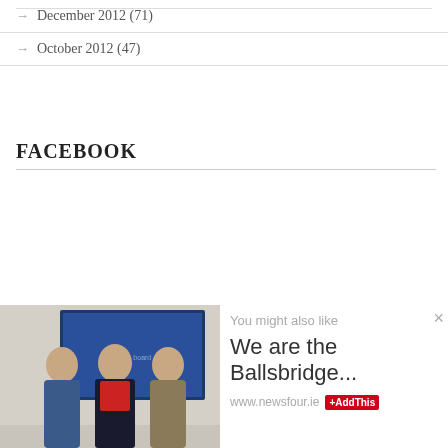December 2012 (71)
October 2012 (47)
FACEBOOK
[Figure (photo): Three people standing together in front of a notice board: two men and a woman in the center wearing a red top and dark jacket.]
You might also like
We are the Ballsbridge...
www.newsfour.ie